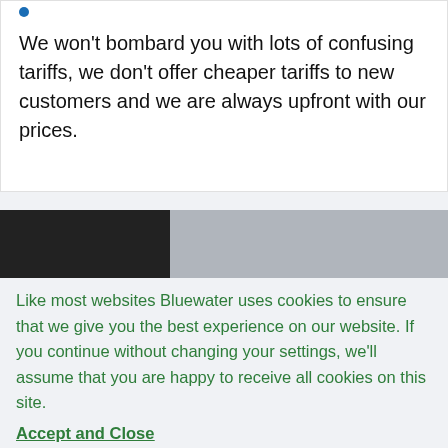We won't bombard you with lots of confusing tariffs, we don't offer cheaper tariffs to new customers and we are always upfront with our prices.
[Figure (photo): Partial photograph split into a dark left portion and a lighter grey right portion, appearing to show a person or object in shadow.]
Like most websites Bluewater uses cookies to ensure that we give you the best experience on our website. If you continue without changing your settings, we'll assume that you are happy to receive all cookies on this site.
Accept and Close